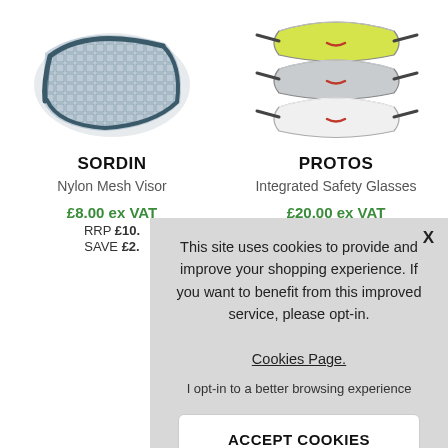[Figure (photo): Sordin Nylon Mesh Visor product image - blue/grey mesh textile]
[Figure (photo): Protos Integrated Safety Glasses product image - three layered lenses yellow, silver, white]
SORDIN
Nylon Mesh Visor
£8.00 ex VAT
RRP £10.
SAVE £2.
PROTOS
Integrated Safety Glasses
This site uses cookies to provide and improve your shopping experience. If you want to benefit from this improved service, please opt-in. Cookies Page.

I opt-in to a better browsing experience

ACCEPT COOKIES